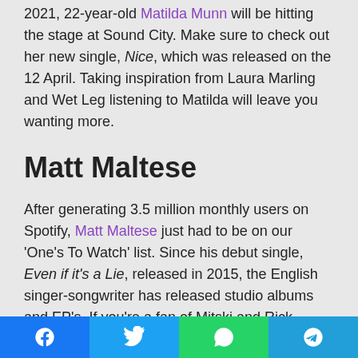2021, 22-year-old Matilda Munn will be hitting the stage at Sound City. Make sure to check out her new single, Nice, which was released on the 12 April. Taking inspiration from Laura Marling and Wet Leg listening to Matilda will leave you wanting more.
Matt Maltese
After generating 3.5 million monthly users on Spotify, Matt Maltese just had to be on our 'One's To Watch' list. Since his debut single, Even if it's a Lie, released in 2015, the English singer-songwriter has released studio albums and EP's. If you're a fan of Mitski and Rick Montgomery, he isn't one to miss.
Fiona Lennon
Share buttons: Facebook, Twitter, WhatsApp, Telegram